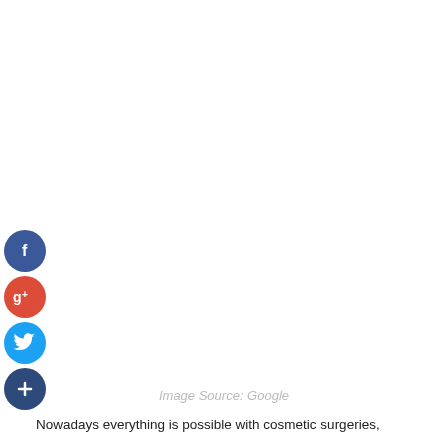[Figure (illustration): Social media sharing icons: Facebook (blue circle with f), Google+ (red circle with g+), Twitter (light blue circle with bird), and a dark blue add/plus circle button, arranged vertically on the left side of the page.]
Image Source: Google
Nowadays everything is possible with cosmetic surgeries,